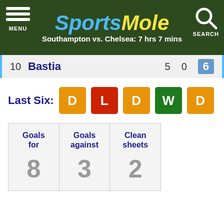SportsMole — Southampton vs. Chelsea: 7 hrs 7 mins
10  Bastia  5  0  6
Last Six: D L D W D
| Goals for | Goals against | Clean sheets |
| --- | --- | --- |
| 8 | 3 | 2 |